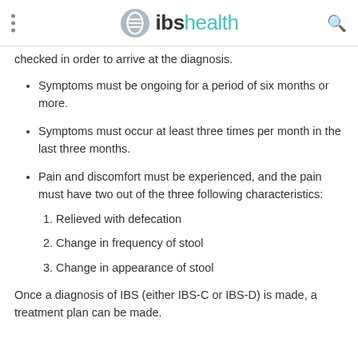ibshealth
checked in order to arrive at the diagnosis.
Symptoms must be ongoing for a period of six months or more.
Symptoms must occur at least three times per month in the last three months.
Pain and discomfort must be experienced, and the pain must have two out of the three following characteristics:
1. Relieved with defecation
2. Change in frequency of stool
3. Change in appearance of stool
Once a diagnosis of IBS (either IBS-C or IBS-D) is made, a treatment plan can be made.